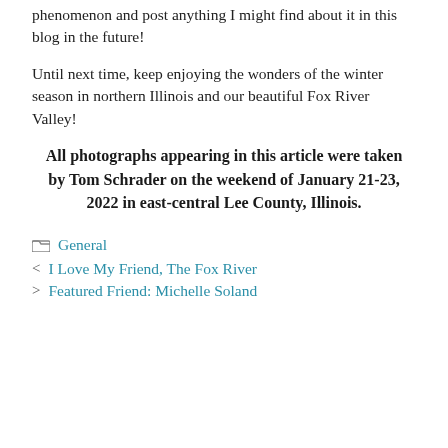phenomenon and post anything I might find about it in this blog in the future!
Until next time, keep enjoying the wonders of the winter season in northern Illinois and our beautiful Fox River Valley!
All photographs appearing in this article were taken by Tom Schrader on the weekend of January 21-23, 2022 in east-central Lee County, Illinois.
General
< I Love My Friend, The Fox River
> Featured Friend: Michelle Soland